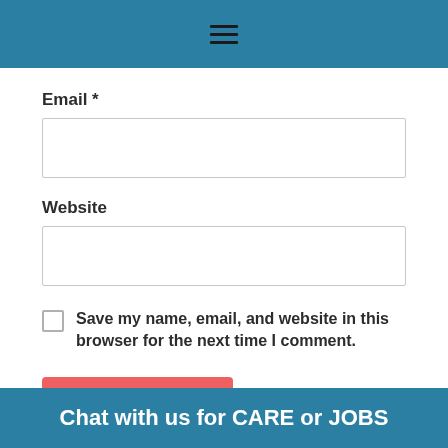Email *
Website
Save my name, email, and website in this browser for the next time I comment.
Post Comment
Chat with us for CARE or JOBS